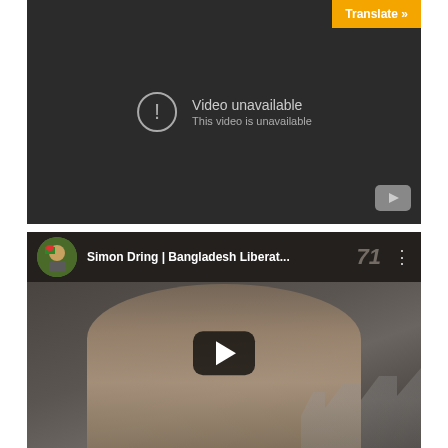[Figure (screenshot): Embedded YouTube video player showing 'Video unavailable — This video is unavailable' error on a dark background, with a Translate button in the top-right corner and a YouTube logo in the bottom-right.]
[Figure (screenshot): Embedded YouTube video player thumbnail showing Simon Dring | Bangladesh Liberat... with a channel avatar (Bangladesh Liberation War themed), a play button overlay, a person (man) in the foreground, city buildings in the background, and a '71' watermark.]